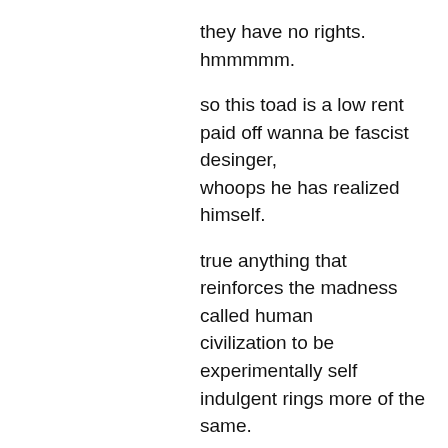they have no rights. hmmmmm.
so this toad is a low rent paid off wanna be fascist desinger,
whoops he has realized himself.
true anything that reinforces the madness called human
civilization to be experimentally self indulgent rings more of the
same.
i am sure some of the young ones think that the coney island
thingee is really cool.
walmart has this add out with teeny boobies
pulling the line